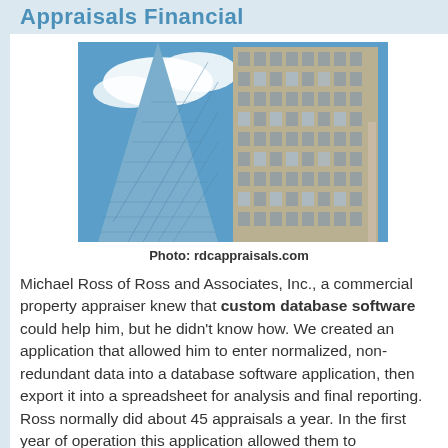Appraisals Financial
[Figure (photo): Upward-angle photograph of two glass skyscrapers against a blue sky with clouds]
Photo: rdcappraisals.com
Michael Ross of Ross and Associates, Inc., a commercial property appraiser knew that custom database software could help him, but he didn't know how. We created an application that allowed him to enter normalized, non-redundant data into a database software application, then export it into a spreadsheet for analysis and final reporting. Ross normally did about 45 appraisals a year. In the first year of operation this application allowed them to